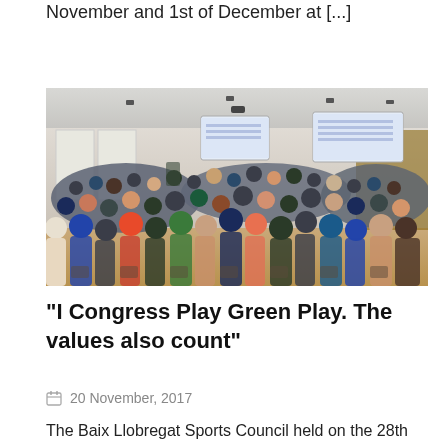November and 1st of December at [...]
[Figure (photo): Large conference hall filled with attendees seated in rows, viewed from the back, with projection screens visible at the front of the room.]
“I Congress Play Green Play. The values also count”
20 November, 2017
The Baix Llobregat Sports Council held on the 28th